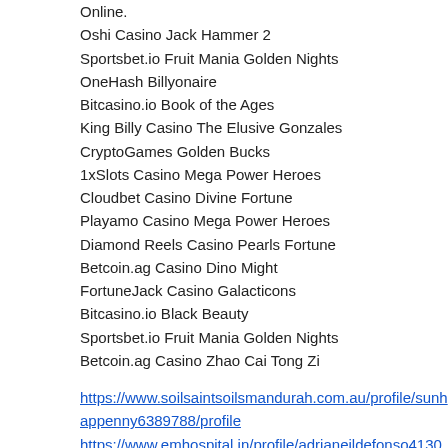Online.
Oshi Casino Jack Hammer 2
Sportsbet.io Fruit Mania Golden Nights
OneHash Billyonaire
Bitcasino.io Book of the Ages
King Billy Casino The Elusive Gonzales
CryptoGames Golden Bucks
1xSlots Casino Mega Power Heroes
Cloudbet Casino Divine Fortune
Playamo Casino Mega Power Heroes
Diamond Reels Casino Pearls Fortune
Betcoin.ag Casino Dino Might
FortuneJack Casino Galacticons
Bitcasino.io Black Beauty
Sportsbet.io Fruit Mania Golden Nights
Betcoin.ag Casino Zhao Cai Tong Zi
https://www.soilsaintsoilsmandurah.com.au/profile/sunhappenny6389788/profile
https://www.emhospital.in/profile/adrianeildefonso4130622/profile
https://www.snapyourselfintoanewreality.com